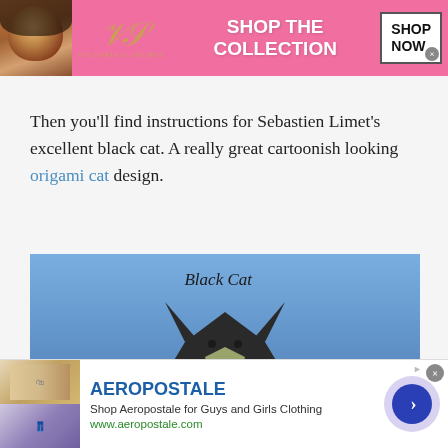[Figure (illustration): Victoria's Secret advertisement banner with pink background, model photo on left, VS logo in center, 'SHOP THE COLLECTION' text, and 'SHOP NOW' button]
Then you’ll find instructions for Sebastien Limet’s excellent black cat. A really great cartoonish looking origami cat design.
[Figure (photo): Photo of a black origami cat sculpture on a blue background with 'Black Cat' handwritten text at the top]
[Figure (illustration): Aeropostale advertisement with shopping images, brand name, description 'Shop Aeropostale for Guys and Girls Clothing', URL www.aeropostale.com, and a navigation arrow button]